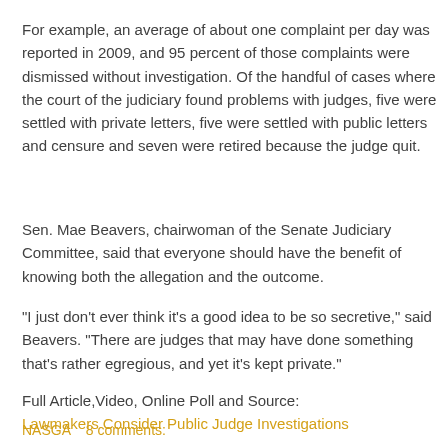For example, an average of about one complaint per day was reported in 2009, and 95 percent of those complaints were dismissed without investigation. Of the handful of cases where the court of the judiciary found problems with judges, five were settled with private letters, five were settled with public letters and censure and seven were retired because the judge quit.
Sen. Mae Beavers, chairwoman of the Senate Judiciary Committee, said that everyone should have the benefit of knowing both the allegation and the outcome.
"I just don't ever think it's a good idea to be so secretive," said Beavers. "There are judges that may have done something that's rather egregious, and yet it's kept private."
Full Article,Video, Online Poll and Source: Lawmakers Consider Public Judge Investigations
NASGA    8 comments: